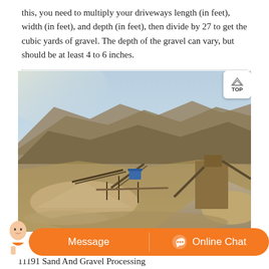this, you need to multiply your driveways length (in feet), width (in feet), and depth (in feet), then divide by 27 to get the cubic yards of gravel. The depth of the gravel can vary, but should be at least 4 to 6 inches.
[Figure (photo): Outdoor sand and gravel processing facility with industrial conveyor equipment, piles of gravel, and mountainous terrain in the background.]
11191 Sand And Gravel Processing